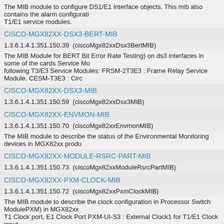The MIB module to configure DS1/E1 interface objects. This mib also contains the alarm configuration T1/E1 service modules.
CISCO-MGX82XX-DSX3-BERT-MIB
1.3.6.1.4.1.351.150.39  (ciscoMgx82xxDsx3BertMIB)
The MIB Module for BERT Bit Error Rate Testing) on ds3 interfaces in some of the cards Service Mo following T3/E3 Service Modules: FRSM-2T3E3 : Frame Relay Service Module. CESM-T3E3 : Circ
CISCO-MGX82XX-DSX3-MIB
1.3.6.1.4.1.351.150.59  (ciscoMgx82xxDsx3MIB)
CISCO-MGX82XX-ENVMON-MIB
1.3.6.1.4.1.351.150.70  (ciscoMgx82xxEnvmonMIB)
The MIB module to describe the status of the Environmental Monitoring devices in MGX82xx produ
CISCO-MGX82XX-MODULE-RSRC-PART-MIB
1.3.6.1.4.1.351.150.73  (ciscoMgx82xxModuleRsrcPartMIB)
CISCO-MGX82XX-PXM-CLOCK-MIB
1.3.6.1.4.1.351.150.72  (ciscoMgx82xxPxmClockMIB)
The MIB module to describe the clock configuration in Processor Switch ModulePXM) in MGX82xx T1 Clock port, E1 Clock Port PXM-UI-S3 : External Clock1 for T1/E1 Clock input.
CISCO-MGX82XX-RPM-CONN-MIB